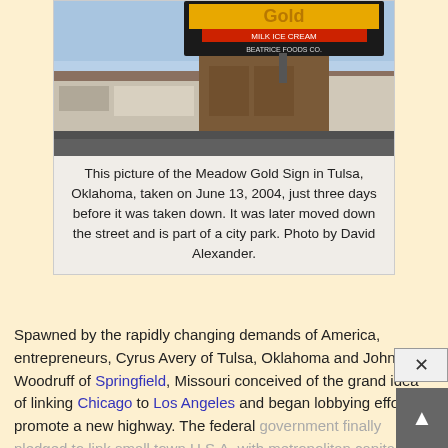[Figure (photo): Street-level photograph of the Meadow Gold Sign in Tulsa, Oklahoma, showing a large billboard with 'Gold Milk Ice Cream Beatrice Foods Co.' text, taken on June 13, 2004.]
This picture of the Meadow Gold Sign in Tulsa, Oklahoma, taken on June 13, 2004, just three days before it was taken down. It was later moved down the street and is part of a city park. Photo by David Alexander.
Spawned by the rapidly changing demands of America, entrepreneurs, Cyrus Avery of Tulsa, Oklahoma and John Woodruff of Springfield, Missouri conceived of the grand idea of linking Chicago to Los Angeles and began lobbying efforts to promote a new highway. The federal government finally pledged to link small town U.S.A. with metropolitan capitals in the summer of 1926 and designated the road as Highway 66.